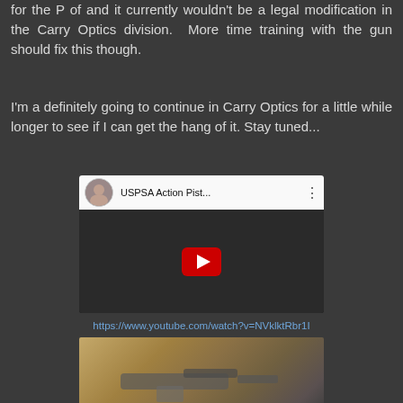for the P of and it currently wouldn't be a legal modification in the Carry Optics division. More time training with the gun should fix this though.
I'm a definitely going to continue in Carry Optics for a little while longer to see if I can get the hang of it. Stay tuned...
[Figure (screenshot): YouTube video thumbnail showing 'USPSA Action Pist...' with avatar, play button on dark background]
https://www.youtube.com/watch?v=NVklktRbr1I
[Figure (photo): Partial photo of a pistol on a textured background]